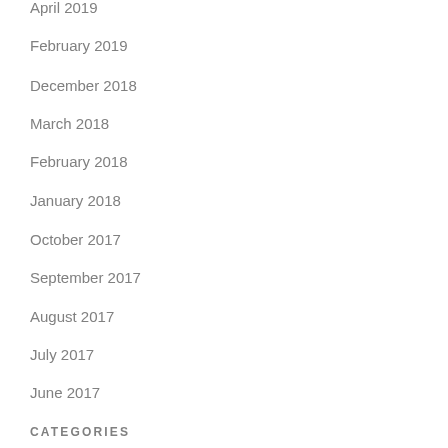April 2019
February 2019
December 2018
March 2018
February 2018
January 2018
October 2017
September 2017
August 2017
July 2017
June 2017
CATEGORIES
Architecture